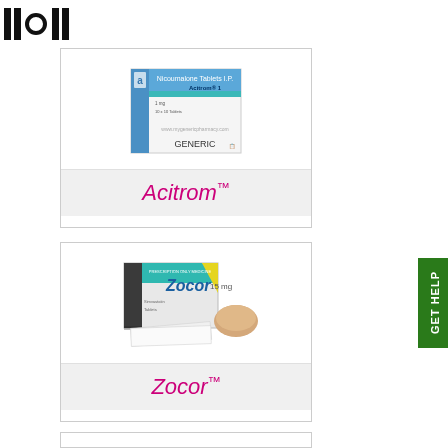[Figure (logo): Website logo with vertical bars and circle symbols]
[Figure (photo): Acitrom (Nicoumalone Tablets I.P.) medicine box - generic pharmacy product]
Acitrom™
[Figure (photo): Zocor medicine box with tablet/pill beside it]
Zocor™